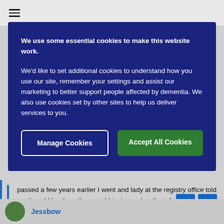[Figure (screenshot): Top navigation bar with hamburger menu icon]
We use some essential cookies to make this website work.
We'd like to set additional cookies to understand how you use our site, remember your settings and assist our marketing to better support people affected by dementia. We also use cookies set by other sites to help us deliver services to you.
Manage Cookies
Accept All Cookies
passed a few years earlier I went and lady at the registry office told me it could be done there and I just gave her the information.
I think I did it for mum as well.
MaNaAk
Jessbow